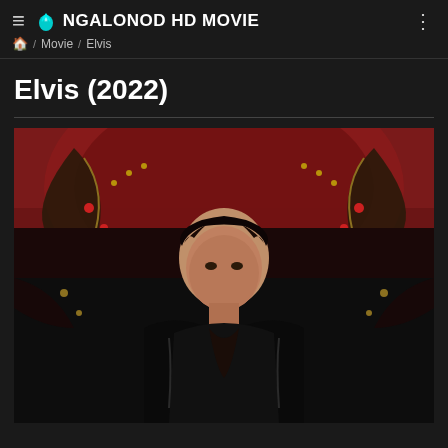≡ 🔥 NGALONOD HD MOVIE  ⋮
🏠 / Movie / Elvis
Elvis (2022)
[Figure (photo): Movie poster/still for Elvis (2022) showing a young man with dark hair wearing a black leather outfit, posed against an ornate decorative background with red and gold patterns resembling eagle wings]